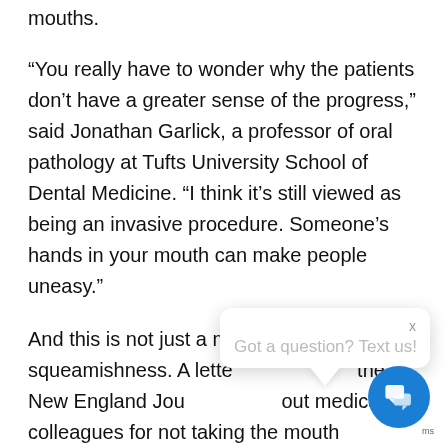mouths.
“You really have to wonder why the patients don’t have a greater sense of the progress,” said Jonathan Garlick, a professor of oral pathology at Tufts University School of Dental Medicine. “I think it’s still viewed as being an invasive procedure. Someone’s hands in your mouth can make people uneasy.”
And this is not just a m[atter of] squeamishness. A lette[r published in] the New England Jour[nal called] out medical colleagues for not taking the mouth seriously enough.
“It’s about to th[is matter, that all the mouth]
[Figure (screenshot): Chat popup widget with 'x' close button and text 'Got a question? Text us!' with a speech bubble tail, and a blue circular chat button icon in the bottom right corner with 'ms' label.]